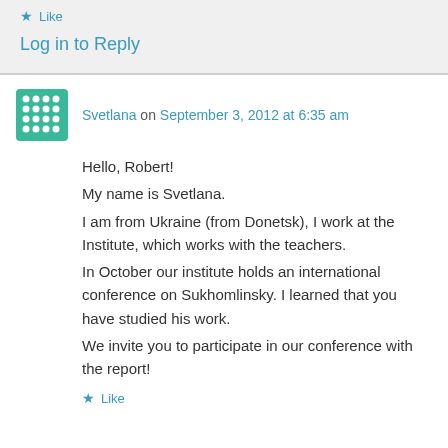Like
Log in to Reply
Svetlana on September 3, 2012 at 6:35 am
Hello, Robert!
My name is Svetlana.
I am from Ukraine (from Donetsk), I work at the Institute, which works with the teachers.
In October our institute holds an international conference on Sukhomlinsky. I learned that you have studied his work.
We invite you to participate in our conference with the report!
Like